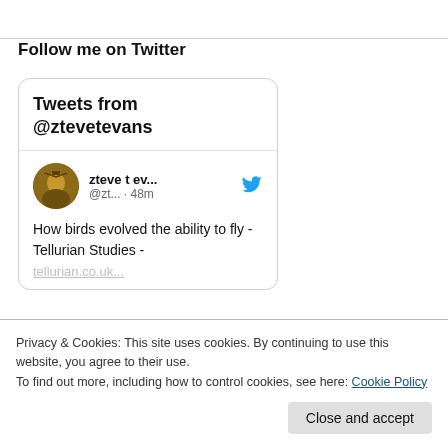Follow me on Twitter
[Figure (screenshot): Twitter widget showing tweets from @ztevetevans. Header reads 'Tweets from @ztevetevans'. Tweet from user 'zteve t ev...' @zt... 48m with Twitter bird icon. Tweet text: 'How birds evolved the ability to fly - Tellurian Studies -' followed by partially visible link text.]
Privacy & Cookies: This site uses cookies. By continuing to use this website, you agree to their use.
To find out more, including how to control cookies, see here: Cookie Policy
Close and accept